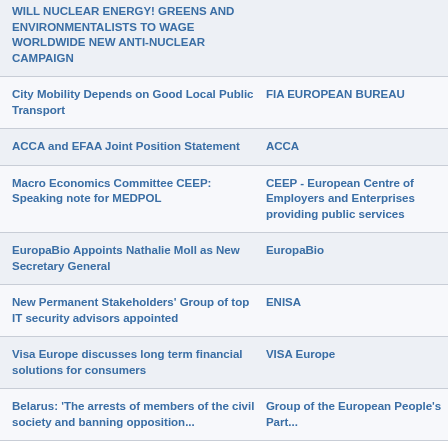WILL NUCLEAR ENERGY! GREENS AND ENVIRONMENTALISTS TO WAGE WORLDWIDE NEW ANTI-NUCLEAR CAMPAIGN
City Mobility Depends on Good Local Public Transport
ACCA and EFAA Joint Position Statement
Macro Economics Committee CEEP: Speaking note for MEDPOL
EuropaBio Appoints Nathalie Moll as New Secretary General
New Permanent Stakeholders' Group of top IT security advisors appointed
Visa Europe discusses long term financial solutions for consumers
Belarus: 'The arrests of members of the civil society and the opposition position…